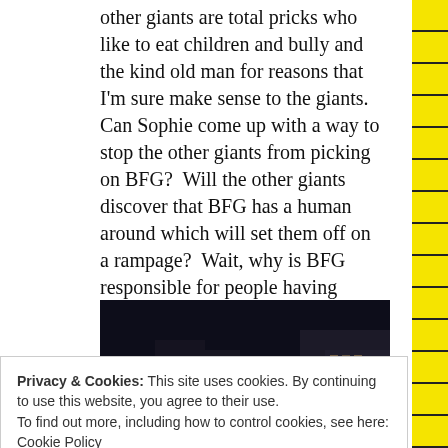other giants are total pricks who like to eat children and bully and the kind old man for reasons that I'm sure make sense to the giants. Can Sophie come up with a way to stop the other giants from picking on BFG? Will the other giants discover that BFG has a human around which will set them off on a rampage? Wait, why is BFG responsible for people having dreams? Seriously, what does that have to do with anything!?
[Figure (photo): Dark nighttime scene, appears to be a movie still with dark building interiors and blue light in the distance]
Privacy & Cookies: This site uses cookies. By continuing to use this website, you agree to their use.
To find out more, including how to control cookies, see here: Cookie Policy